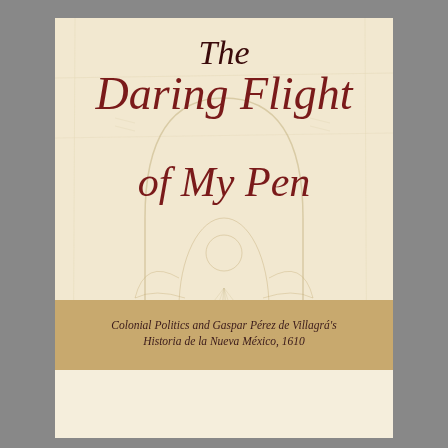[Figure (illustration): Book cover of 'The Daring Flight of My Pen'. Cream/parchment background with a faint engraved arch and figure illustration in the center. Large italic calligraphic title text in dark red/maroon. A gold-tan banner at the bottom contains subtitle text.]
The Daring Flight of My Pen
Colonial Politics and Gaspar Pérez de Villagrá's Historia de la Nueva México, 1610